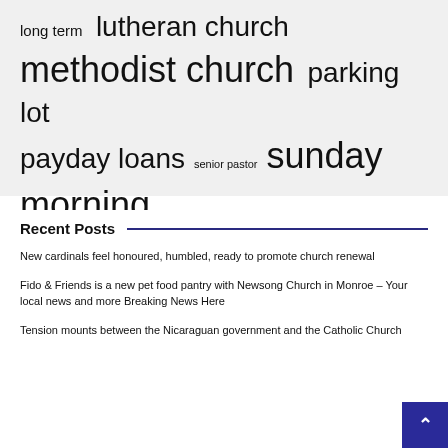long term  lutheran church  methodist church  parking lot  payday loans  senior pastor  sunday morning  united methodist  united states
Recent Posts
New cardinals feel honoured, humbled, ready to promote church renewal
Fido & Friends is a new pet food pantry with Newsong Church in Monroe – Your local news and more Breaking News Here
Tension mounts between the Nicaraguan government and the Catholic Church